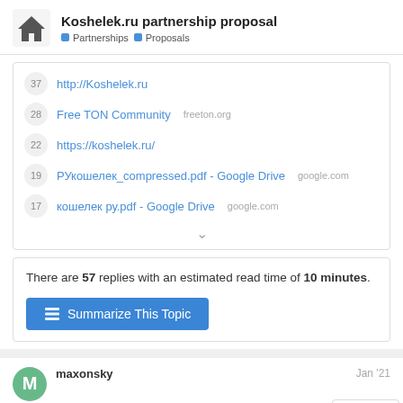Koshelek.ru partnership proposal
Partnerships   Proposals
37  http://Koshelek.ru
28  Free TON Community  freeton.org
22  https://koshelek.ru/
19  РУкошелек_compressed.pdf - Google Drive  google.com
17  кошелек ру.pdf - Google Drive  google.com
There are 57 replies with an estimated read time of 10 minutes.
Summarize This Topic
maxonsky   Jan '21
Пробовал - все работает, стек тоже, в ча
1 / 58